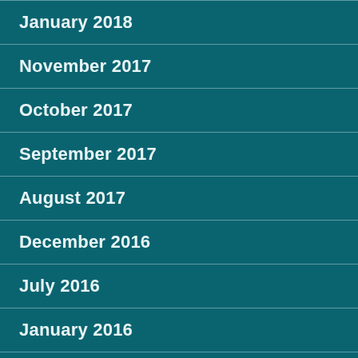January 2018
November 2017
October 2017
September 2017
August 2017
December 2016
July 2016
January 2016
December 2015